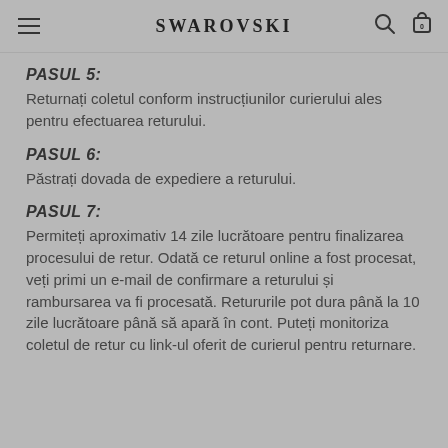SWAROVSKI
PASUL 5:
Returnați coletul conform instrucțiunilor curierului ales pentru efectuarea returului.
PASUL 6:
Păstrați dovada de expediere a returului.
PASUL 7:
Permiteți aproximativ 14 zile lucrătoare pentru finalizarea procesului de retur. Odată ce returul online a fost procesat, veți primi un e-mail de confirmare a returului și rambursarea va fi procesată. Retururile pot dura până la 10 zile lucrătoare până să apară în cont. Puteți monitoriza coletul de retur cu link-ul oferit de curierul pentru returnare.